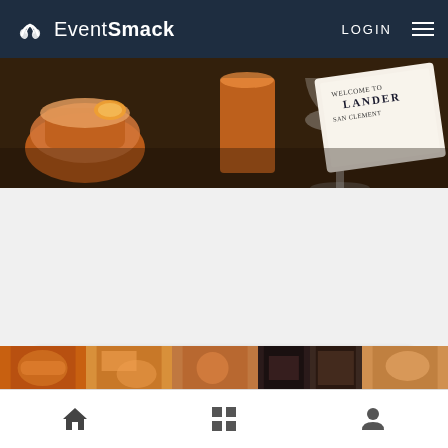EventSmack — LOGIN
[Figure (photo): Hero photo showing cocktail drinks on a dark wooden table with a 'Welcome to San Clemente / Landers' card visible]
Wednesday Happy Hour Specials!! 4-7pm
Wednesday, August 24 11:00pm
Landers San Clemente
1814 North El Camino Real, San Clemente, CA, USA
[Figure (photo): Thumbnail strip of food/event photos at the bottom of the page]
Home | Grid | Profile navigation icons